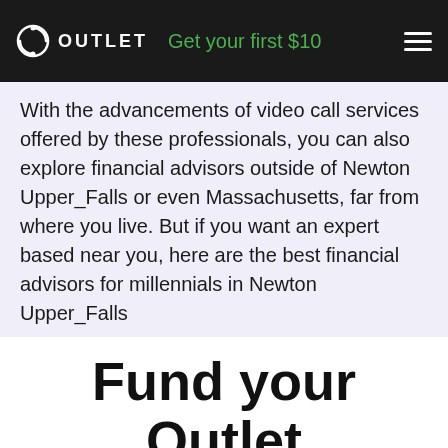OUTLET | Get your first $10
With the advancements of video call services offered by these professionals, you can also explore financial advisors outside of Newton Upper_Falls or even Massachusetts, far from where you live. But if you want an expert based near you, here are the best financial advisors for millennials in Newton Upper_Falls
Fund your Outlet account to earn